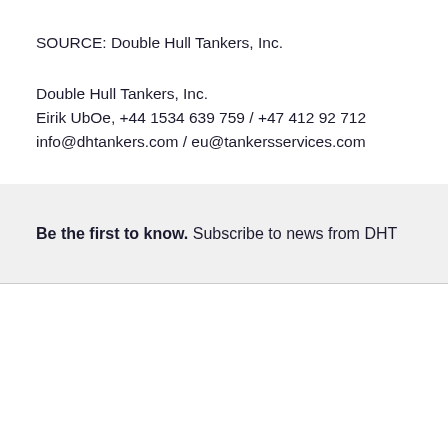SOURCE: Double Hull Tankers, Inc.
Double Hull Tankers, Inc.
Eirik UbOe, +44 1534 639 759 / +47 412 92 712
info@dhtankers.com / eu@tankersservices.com
Be the first to know. Subscribe to news from DHT